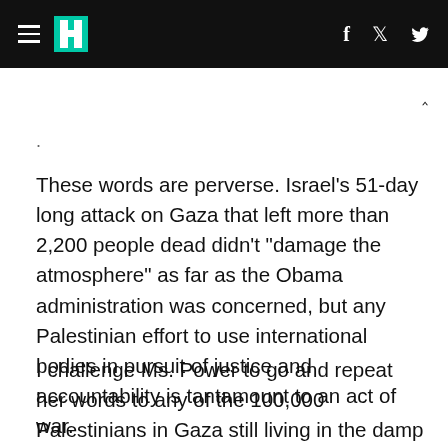HuffPost navigation header with hamburger menu, logo, Facebook and Twitter icons
These words are perverse. Israel's 51-day long attack on Gaza that left more than 2,200 people dead didn't "damage the atmosphere" as far as the Obama administration was concerned, but any Palestinian effort to use international bodies in pursuit of justice and accountability is tantamount to an act of war.
I challenge Ms. Power to go and repeat her words to any of the 100,000 Palestinians in Gaza still living in the damp and freezing rubble of